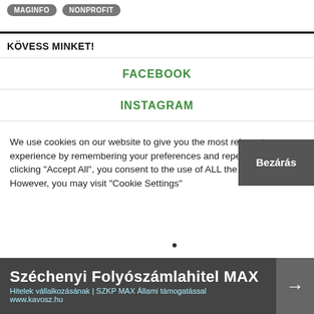[Figure (other): Two grey pill-shaped tag buttons labeled 'MAGINFO' and 'NONPROFIT']
KÖVESS MINKET!
FACEBOOK
INSTAGRAM
We use cookies on our website to give you the most relevant experience by remembering your preferences and repeat visits. By clicking "Accept All", you consent to the use of ALL the cookies. However, you may visit "Cookie Settings"
Bezárás
[Figure (infographic): Advertisement banner: Széchenyi Folyószámlahitel MAX — Hitelek vállalkozásának | SZKP MAX Állami támogatással — www.kavosz.hu]